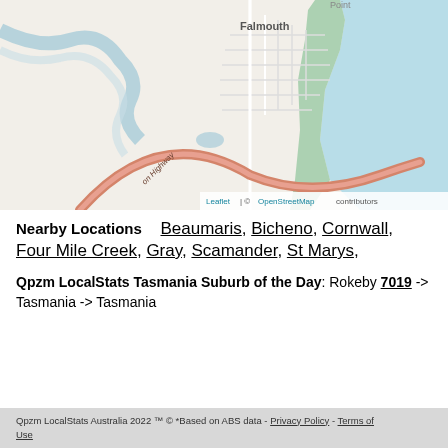[Figure (map): OpenStreetMap showing Falmouth, Tasmania area with road network, coastline, and a red/salmon colored highway arc in the lower portion. The map shows a coastal town with grid street layout.]
Nearby Locations  Beaumaris, Bicheno, Cornwall, Four Mile Creek, Gray, Scamander, St Marys,
Qpzm LocalStats Tasmania Suburb of the Day: Rokeby 7019 -> Tasmania -> Tasmania
Qpzm LocalStats Australia 2022 ™ © *Based on ABS data - Privacy Policy - Terms of Use